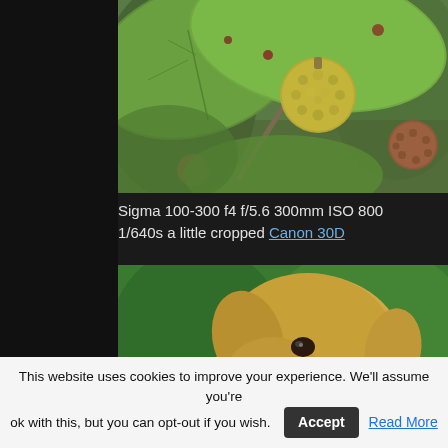[Figure (photo): Close-up photograph of a fig tree branch with large green leaves and a round, bumpy green fruit (unripe fig). Additional smaller brownish-red fruit visible at right. Blurred background with green and grey tones.]
Sigma 100-300 f4 f/5.6 300mm ISO 800 1/640s a little cropped Canon 30D
[Figure (photo): Close-up photograph of a golden/yellow Labrador retriever dog profile, looking to the left, against a blurred green background. The dog is wearing a dark red collar.]
This website uses cookies to improve your experience. We'll assume you're ok with this, but you can opt-out if you wish. [Accept] Read More